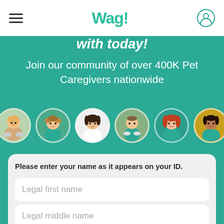Wag!
Join our community of over 400K Pet Caregivers nationwide
[Figure (photo): Six circular profile photos of pet caregivers in green/teal shirts, arranged in a row]
Please enter your name as it appears on your ID.
Legal first name
Legal middle name
Legal last name